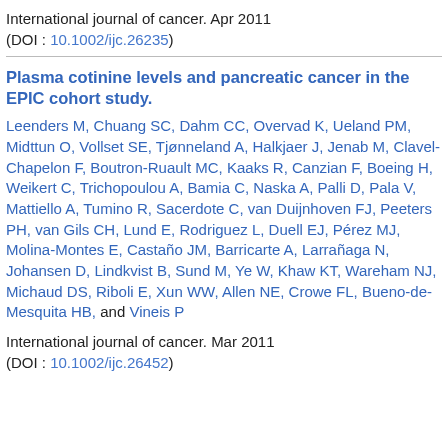International journal of cancer. Apr 2011
(DOI : 10.1002/ijc.26235)
Plasma cotinine levels and pancreatic cancer in the EPIC cohort study.
Leenders M, Chuang SC, Dahm CC, Overvad K, Ueland PM, Midttun O, Vollset SE, Tjønneland A, Halkjaer J, Jenab M, Clavel-Chapelon F, Boutron-Ruault MC, Kaaks R, Canzian F, Boeing H, Weikert C, Trichopoulou A, Bamia C, Naska A, Palli D, Pala V, Mattiello A, Tumino R, Sacerdote C, van Duijnhoven FJ, Peeters PH, van Gils CH, Lund E, Rodriguez L, Duell EJ, Pérez MJ, Molina-Montes E, Castaño JM, Barricarte A, Larrañaga N, Johansen D, Lindkvist B, Sund M, Ye W, Khaw KT, Wareham NJ, Michaud DS, Riboli E, Xun WW, Allen NE, Crowe FL, Bueno-de-Mesquita HB, and Vineis P
International journal of cancer. Mar 2011
(DOI : 10.1002/ijc.26452)